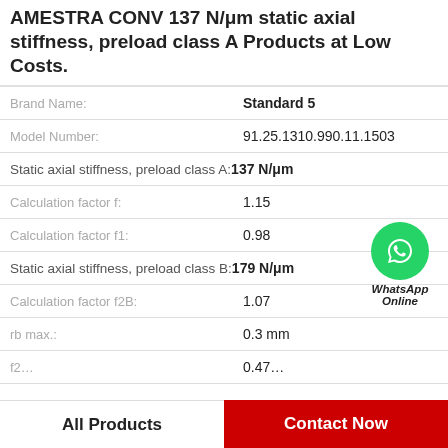AMESTRA CONV 137 N/μm static axial stiffness, preload class A Products at Low Costs.
| Attribute | Value |
| --- | --- |
| Brand Name: | Standard 5 |
| Model Number: | 91.25.1310.990.11.1503 |
| Static axial stiffness, preload class A: | 137 N/μm |
| Calculation factor f: | 1.15 |
| Calculation factor f1: | 0.98 |
| Static axial stiffness, preload class B: | 179 N/μm |
| Calculation factor f2B: | 1.07 |
| rb max.: | 0.3 mm |
[Figure (logo): WhatsApp Online green circle badge with phone icon and text 'WhatsApp Online']
All Products   Contact Now